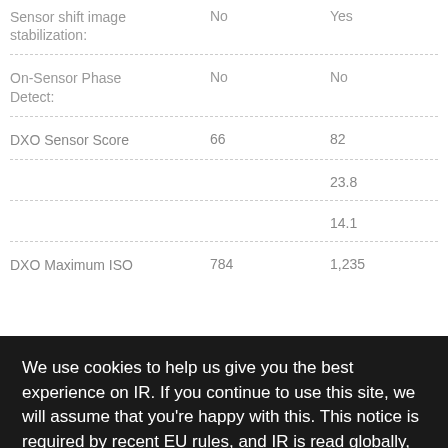| Feature | Camera 1 | Camera 2 |
| --- | --- | --- |
| Sensor shift image stabilization: | No | Yes |
| On-Sensor Phase Detect: | No | No |
| DXO Sensor Score | 66 | 82 |
| (sensor size related) |  | 23.8 |
| (bit depth) |  | 14.1 |
| DXO Maximum ISO | 784 | 1,235 |
We use cookies to help us give you the best experience on IR. If you continue to use this site, we will assume that you're happy with this. This notice is required by recent EU rules, and IR is read globally, so we need to keep the bureaucrats off our case!
Learn more
Got it!
Image Capture: